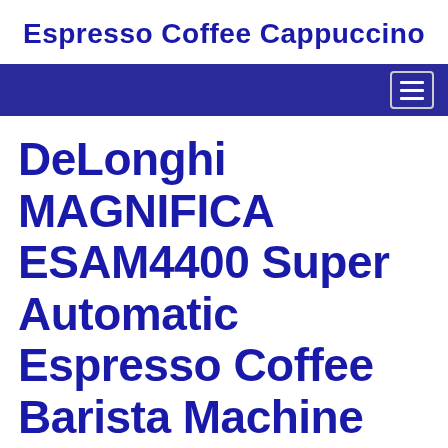Espresso Coffee Cappuccino
DeLonghi MAGNIFICA ESAM4400 Super Automatic Espresso Coffee Barista Machine
[Figure (photo): Top-down/angled view of a DeLonghi MAGNIFICA ESAM4400 espresso machine in silver/grey color, showing the control panel with an LCD display reading 'READY STRONG TASTE']